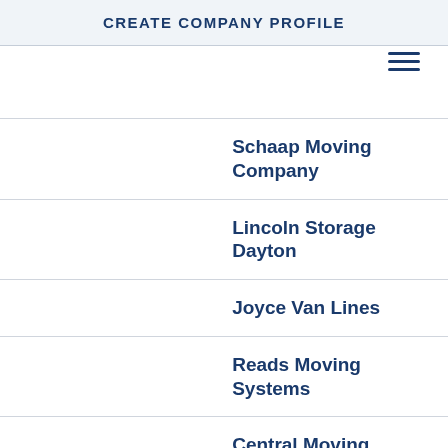CREATE COMPANY PROFILE
Schaap Moving Company
Lincoln Storage Dayton
Joyce Van Lines
Reads Moving Systems
Central Moving